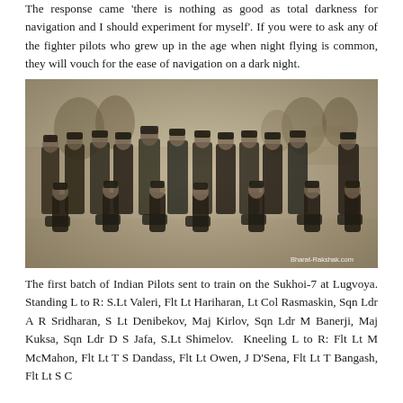The response came 'there is nothing as good as total darkness for navigation and I should experiment for myself'. If you were to ask any of the fighter pilots who grew up in the age when night flying is common, they will vouch for the ease of navigation on a dark night.
[Figure (photo): Black and white photograph of the first batch of Indian Pilots sent to train on the Sukhoi-7 at Lugvoya. A group of military personnel posed outdoors in winter, with trees and a building in the background. Watermark reads Bharat-Rakshak.com.]
The first batch of Indian Pilots sent to train on the Sukhoi-7 at Lugvoya. Standing L to R: S.Lt Valeri, Flt Lt Hariharan, Lt Col Rasmaskin, Sqn Ldr A R Sridharan, S Lt Denibekov, Maj Kirlov, Sqn Ldr M Banerji, Maj Kuksa, Sqn Ldr D S Jafa, S.Lt Shimelov. Kneeling L to R: Flt Lt M McMahon, Flt Lt T S Dandass, Flt Lt Owen, J D'Sena, Flt Lt T Bangash, Flt Lt S C